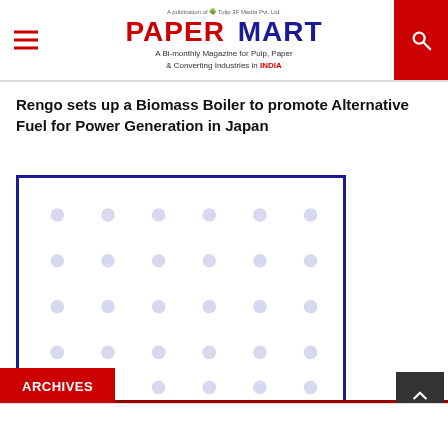Paper Mart — A Bi-monthly Magazine for Pulp, Paper & Converting Industries in INDIA
Rengo sets up a Biomass Boiler to promote Alternative Fuel for Power Generation in Japan
[Figure (photo): Image placeholder with dot pattern grid inside a dark blue border rectangle]
ARCHIVES